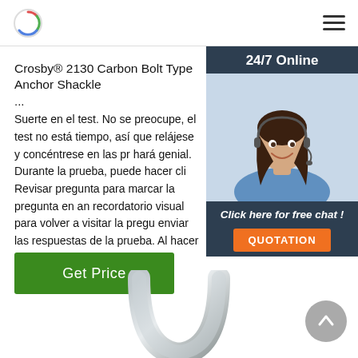Navigation header with logo and hamburger menu
Crosby® 2130 Carbon Bolt Type Anchor Shackle ...
Suerte en el test. No se preocupe, el test no está tiempo, así que relájese y concéntrese en las pr hará genial. Durante la prueba, puede hacer cli Revisar pregunta para marcar la pregunta en an recordatorio visual para volver a visitar la pregu enviar las respuestas de la prueba. Al hacer cli una pregunta ...
[Figure (photo): Woman with headset smiling, customer support photo, 24/7 Online chat widget]
Get Price
[Figure (photo): Metal anchor shackle ring product photo at bottom of page]